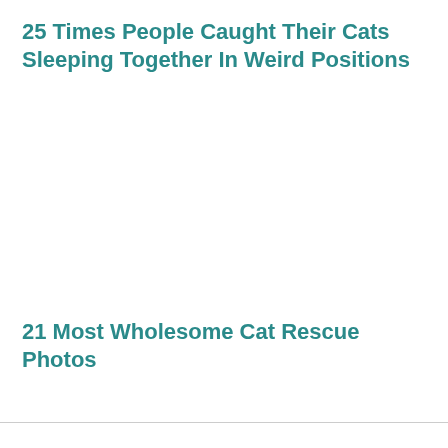25 Times People Caught Their Cats Sleeping Together In Weird Positions
21 Most Wholesome Cat Rescue Photos